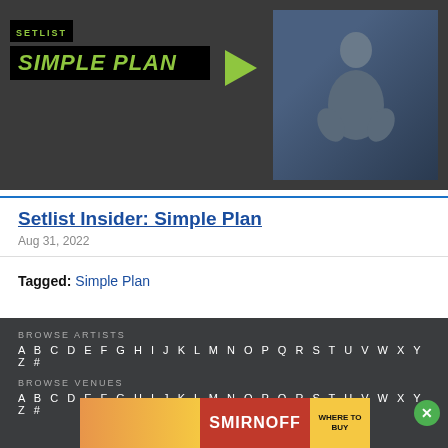[Figure (photo): Banner image showing Simple Plan branding with dark background, green text logo reading SIMPLE PLAN on black background panels, a play button icon, and a person sitting cross-legged on the right side]
Setlist Insider: Simple Plan
Aug 31, 2022
Tagged: Simple Plan
BROWSE ARTISTS
A B C D E F G H I J K L M N O P Q R S T U V W X Y Z #
BROWSE VENUES
A B C D E F G H I J K L M N O P Q R S T U V W X Y Z #
[Figure (photo): Smirnoff advertisement showing colorful canned drinks on left, Smirnoff logo in red, and WHERE TO BUY button in yellow]